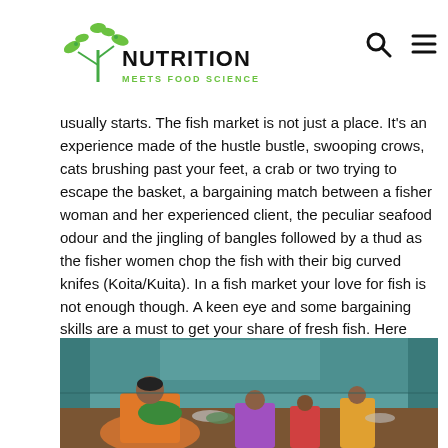Nutrition Meets Food Science
usually starts. The fish market is not just a place. It's an experience made of the hustle bustle, swooping crows, cats brushing past your feet, a crab or two trying to escape the basket, a bargaining match between a fisher woman and her experienced client, the peculiar seafood odour and the jingling of bangles followed by a thud as the fisher women chop the fish with their big curved knifes (Koita/Kuita). In a fish market your love for fish is not enough though. A keen eye and some bargaining skills are a must to get your share of fresh fish. Here are some pointers to help you identify fresh fish.
[Figure (photo): Women working at an indoor fish market with green walls, colorful clothing, and bowls of fish on tables.]